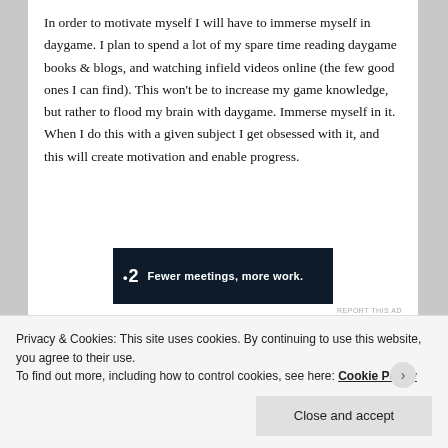In order to motivate myself I will have to immerse myself in daygame. I plan to spend a lot of my spare time reading daygame books & blogs, and watching infield videos online (the few good ones I can find). This won't be to increase my game knowledge, but rather to flood my brain with daygame. Immerse myself in it. When I do this with a given subject I get obsessed with it, and this will create motivation and enable progress.
[Figure (other): Advertisement banner with dark navy background showing a logo with a dot and the number 2, and the tagline 'Fewer meetings, more work.']
REPORT THIS AD
Privacy & Cookies: This site uses cookies. By continuing to use this website, you agree to their use.
To find out more, including how to control cookies, see here: Cookie Policy
Close and accept